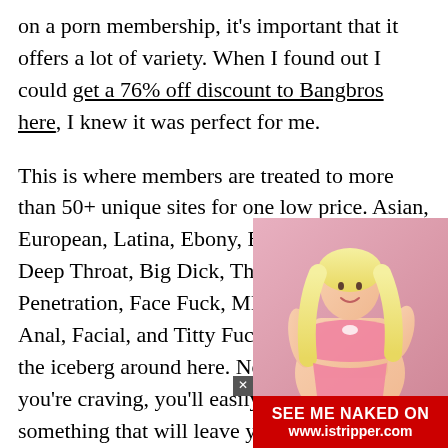on a porn membership, it's important that it offers a lot of variety. When I found out I could get a 76% off discount to Bangbros here, I knew it was perfect for me.
This is where members are treated to more than 50+ unique sites for one low price. Asian, European, Latina, Ebony, Blonde, Squirting, Deep Throat, Big Dick, Threesome, Double Penetration, Face Fuck, MILF, Teen, Big Tits, Anal, Facial, and Titty Fuck are just the tip of the iceberg around here. No matter what you're craving, you'll easily be able to find on something that will leave you feeling fully satisfied. All these explicit sex acts are played out by your favorite porn stars. You'll get to see them throughout a massive collection of videos plus photo galleries and even gain access to live shows. You'll get so much here that you won't need to keep any of your other subscriptions.
[Figure (photo): Blonde woman in pink lingerie with an advertisement banner reading 'SEE ME NAKED ON www.istripper.com']